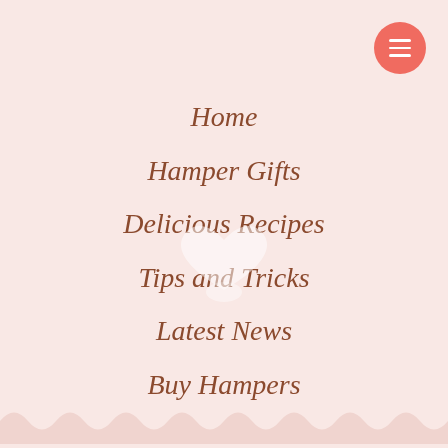[Figure (illustration): Circular red/coral hamburger menu button with three white horizontal lines, positioned top right]
Home
Hamper Gifts
[Figure (illustration): White decorative heart or bow shape watermark in center of page]
Delicious Recipes
Tips and Tricks
Latest News
Buy Hampers
[Figure (illustration): Scalloped/wavy decorative border at the bottom of the page in a slightly darker pink]